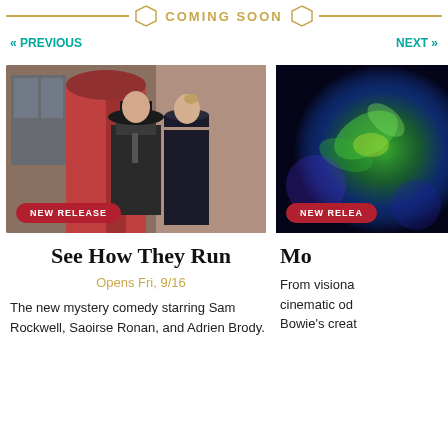COMING SOON
« PREVIOUS
NEXT »
[Figure (photo): Two actors in period costume: a man in a fedora and suit, and a woman in a police uniform, standing in front of a red door. NEW RELEASE badge overlay.]
[Figure (photo): Colorful dark abstract/psychedelic green and blue glowing image. NEW RELEASE badge overlay.]
See How They Run
Mo
Opens Fri, 9/16
The new mystery comedy starring Sam Rockwell, Saoirse Ronan, and Adrien Brody.
From visiona cinematic od Bowie's creat